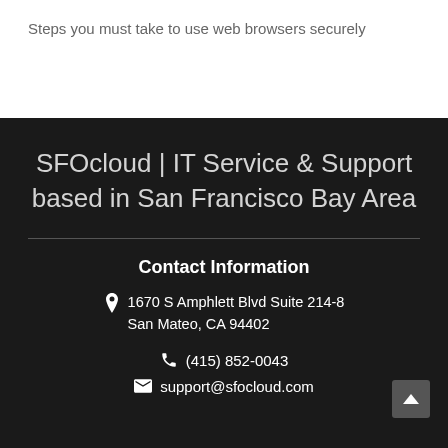Steps you must take to use web browsers securely
SFOcloud | IT Service & Support based in San Francisco Bay Area
Contact Information
1670 S Amphlett Blvd Suite 214-8
San Mateo, CA 94402
(415) 852-0043
support@sfocloud.com